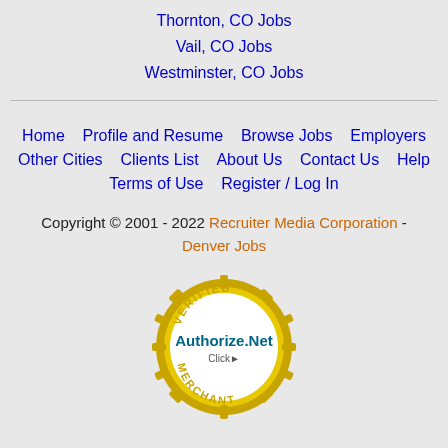Thornton, CO Jobs
Vail, CO Jobs
Westminster, CO Jobs
Home  Profile and Resume  Browse Jobs  Employers  Other Cities  Clients List  About Us  Contact Us  Help  Terms of Use  Register / Log In
Copyright © 2001 - 2022 Recruiter Media Corporation - Denver Jobs
[Figure (logo): Authorize.Net Verified Merchant seal badge in gold and teal colors]